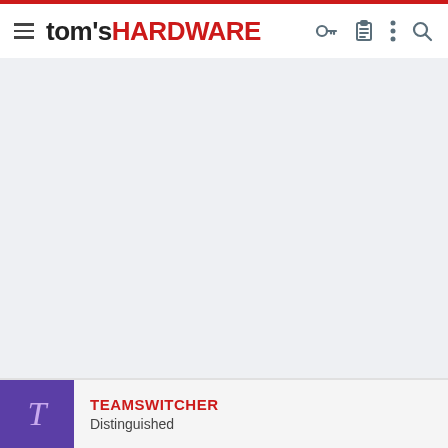tom's HARDWARE
[Figure (screenshot): Gray empty content area placeholder]
TEAMSWITCHER
Distinguished